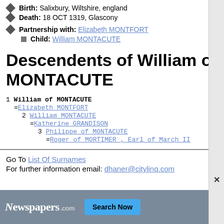Birth: Salixbury, Wiltshire, england
Death: 18 OCT 1319, Glascony
Partnership with: Elizabeth MONTFORT
Child: William MONTACUTE
Descendents of William of MONTACUTE
1 William of MONTACUTE
=Elizabeth MONTFORT
  2 William MONTACUTE
  =Katherine GRANDISON
    3 Philippe of MONTACUTE
    =Roger of MORTIMER , Earl of March II
Go To List Of Surnames
For further information email: dhaner@citylinq.com
[Figure (other): Advertisement banner for Newspapers.com with Search Now button]